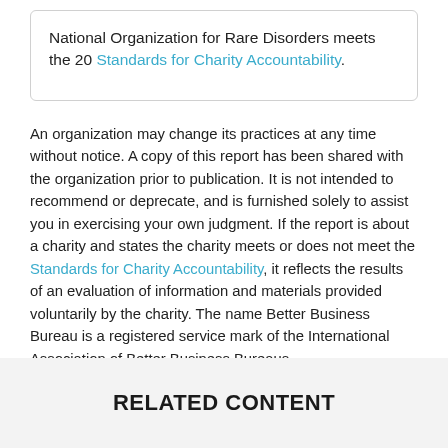National Organization for Rare Disorders meets the 20 Standards for Charity Accountability.
An organization may change its practices at any time without notice. A copy of this report has been shared with the organization prior to publication. It is not intended to recommend or deprecate, and is furnished solely to assist you in exercising your own judgment. If the report is about a charity and states the charity meets or does not meet the Standards for Charity Accountability, it reflects the results of an evaluation of information and materials provided voluntarily by the charity. The name Better Business Bureau is a registered service mark of the International Association of Better Business Bureaus.
This report is not to be used for fundraising or promotional purposes.
Privacy Policy | Trademarks
RELATED CONTENT